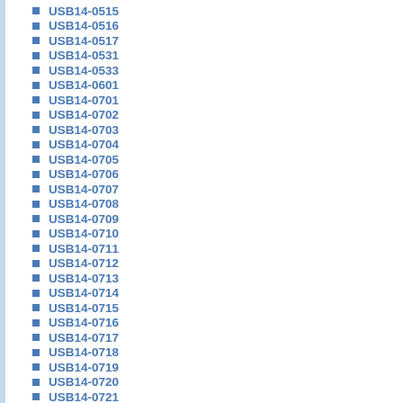USB14-0515
USB14-0516
USB14-0517
USB14-0531
USB14-0533
USB14-0601
USB14-0701
USB14-0702
USB14-0703
USB14-0704
USB14-0705
USB14-0706
USB14-0707
USB14-0708
USB14-0709
USB14-0710
USB14-0711
USB14-0712
USB14-0713
USB14-0714
USB14-0715
USB14-0716
USB14-0717
USB14-0718
USB14-0719
USB14-0720
USB14-0721